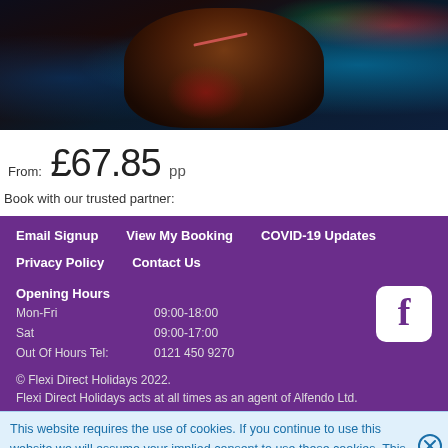[Figure (photo): Concert/performance photo showing a performer in dramatic stage lighting with red and blue tones, wearing red clothing and a patterned headpiece, with visible scar makeup on arm]
From: £67.85 pp
Book with our trusted partner:
Email Signup
View My Booking
COVID-19 Updates
Privacy Policy
Contact Us
Opening Hours
Mon-Fri    09:00-18:00
Sat    09:00-17:00
Out Of Hours Tel:    0121 450 9270
© Flexi Direct Holidays 2022.
Flexi Direct Holidays acts at all times as an agent of Alfendo Ltd.
This website requires the use of cookies. If you continue to use this website we will assume your implied consent to use these cookies. This message will only be displayed once.